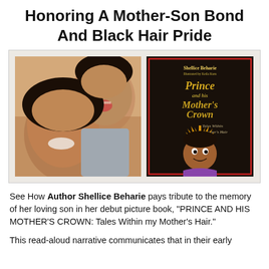Honoring A Mother-Son Bond And Black Hair Pride
[Figure (photo): Two-panel image: left panel shows a smiling woman and young child cheek-to-cheek in a close-up photo; right panel shows the book cover for 'Prince and his Mother's Crown: Tales Within My Mother's Hair' by Shellice Beharie, illustrated by Keila Kuru, featuring a cartoon child with a golden crown on a dark background.]
See How Author Shellice Beharie pays tribute to the memory of her loving son in her debut picture book, "PRINCE AND HIS MOTHER'S CROWN: Tales Within my Mother's Hair."
This read-aloud narrative communicates that in their early